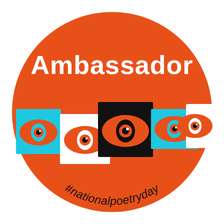[Figure (logo): National Poetry Day Ambassador badge: a large orange circle containing the word 'Ambassador' in white handwritten-style font at the top, a row of four stylized eye illustrations on colored rectangular backgrounds (blue, white, black, cyan) in the center, and the hashtag '#nationalpoetryday' in curved black text along the bottom inside the circle.]